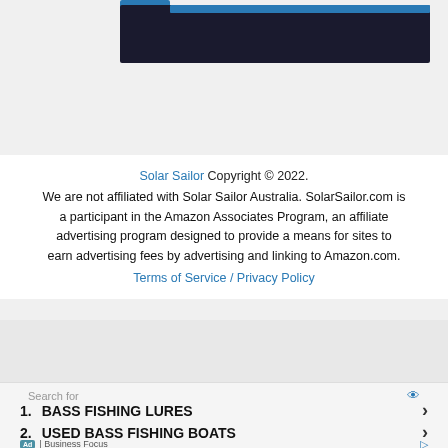[Figure (screenshot): Dark navigation bar with blue tab and blue top bar strip]
[Figure (screenshot): White advertisement box placeholder]
Solar Sailor Copyright © 2022. We are not affiliated with Solar Sailor Australia. SolarSailor.com is a participant in the Amazon Associates Program, an affiliate advertising program designed to provide a means for sites to earn advertising fees by advertising and linking to Amazon.com. Terms of Service / Privacy Policy
[Figure (screenshot): Gray band separator]
Search for
1. BASS FISHING LURES
2. USED BASS FISHING BOATS
Ad | Business Focus